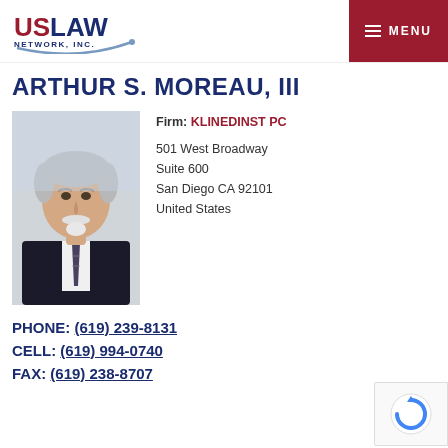US LAW NETWORK, INC. — MENU
ARTHUR S. MOREAU, III
[Figure (photo): Professional headshot of Arthur S. Moreau III, an older white man with gray hair and a white goatee, wearing a dark suit and striped tie]
Firm: KLINEDINST PC
501 West Broadway
Suite 600
San Diego CA 92101
United States
PHONE: (619) 239-8131
CELL: (619) 994-0740
FAX: (619) 238-8707